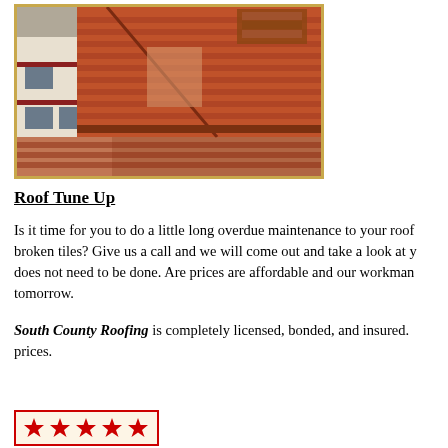[Figure (photo): Aerial view of a building with red/terracotta tile roof, showing roofing work with stacked tiles, framed with a gold/tan border]
Roof Tune Up
Is it time for you to do a little long overdue maintenance to your roof broken tiles? Give us a call and we will come out and take a look at y does not need to be done. Are prices are affordable and our workman tomorrow.
South County Roofing is completely licensed, bonded, and insured. prices.
[Figure (other): Five red star rating icons in a red-bordered box with light background]